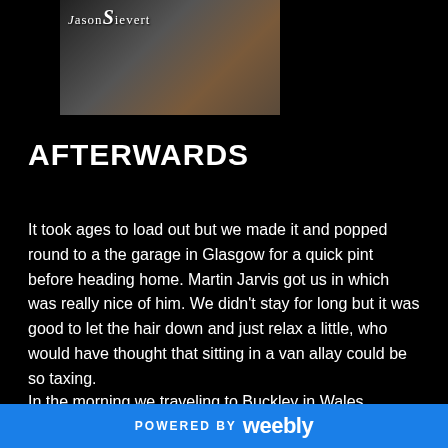[Figure (photo): A photograph of people, partially visible, with a Jason Sievert logo/watermark in the upper left corner. Background shows dark clothing and people.]
AFTERWARDS
It took ages to load out but we made it and popped round to a the garage in Glasgow for a quick pint before heading home. Martin Jarvis got us in which was really nice of him. We didn't stay for long but it was good to let the hair down and just relax a little, who would have thought that sitting in a van allay could be so taxing.
In the morning we traveling to Buckley in Wales, looking forward to seeing those guys. I love the Welsh
POWERED BY weebly